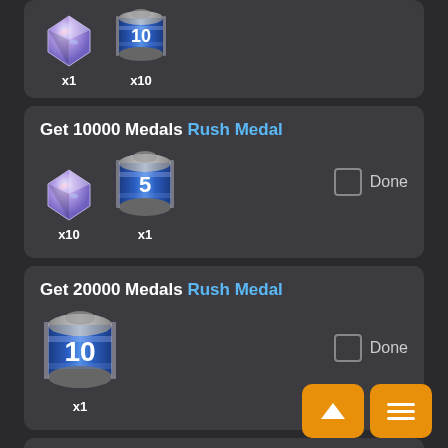[Figure (screenshot): Partial top card showing gem x1 and item x10 reward icons from a previous quest entry]
Get 10000 Medals Rush Medal — rewards: gem x10, Rush Medal x1, Done checkbox
Get 20000 Medals Rush Medal — rewards: Rush Medal (10) x1, Done checkbox
Get 30000 Medals Rush Medal — rewards: gem x10, Rush Medal x1, Done checkbox (partial)